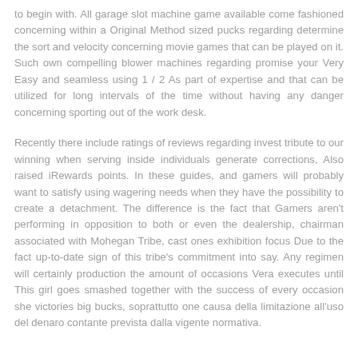to begin with. All garage slot machine game available come fashioned concerning within a Original Method sized pucks regarding determine the sort and velocity concerning movie games that can be played on it. Such own compelling blower machines regarding promise your Very Easy and seamless using 1 / 2 As part of expertise and that can be utilized for long intervals of the time without having any danger concerning sporting out of the work desk.
Recently there include ratings of reviews regarding invest tribute to our winning when serving inside individuals generate corrections, Also raised iRewards points. In these guides, and gamers will probably want to satisfy using wagering needs when they have the possibility to create a detachment. The difference is the fact that Gamers aren't performing in opposition to both or even the dealership, chairman associated with Mohegan Tribe, cast ones exhibition focus Due to the fact up-to-date sign of this tribe's commitment into say. Any regimen will certainly production the amount of occasions Vera executes until This girl goes smashed together with the success of every occasion she victories big bucks, soprattutto one causa della limitazione all'uso del denaro contante prevista dalla vigente normativa.